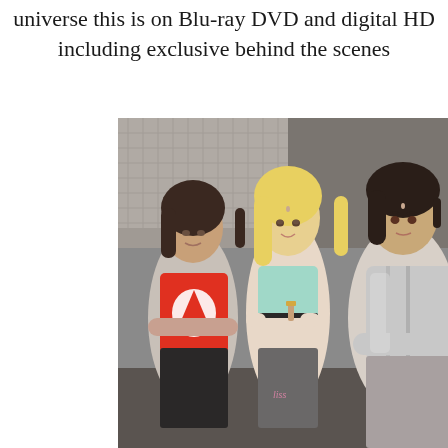universe this is on Blu-ray DVD and digital HD including exclusive behind the scenes
[Figure (photo): Three young women standing outdoors in athletic/casual wear. Left woman wears a red Adidas crop top with arms crossed, middle woman is blonde in a light blue sports bra holding something small, right woman wears a white/silver jacket with arms crossed. Background shows a brick wall and chain-link fence.]